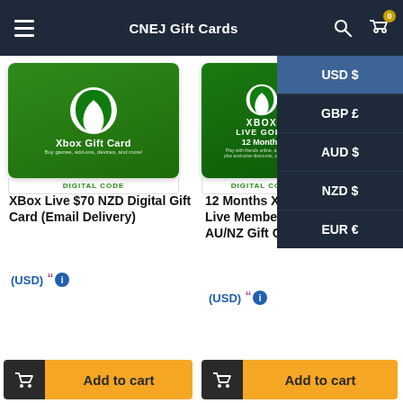CNEJ Gift Cards
[Figure (screenshot): Xbox Gift Card product image - green card with Xbox logo, text 'Xbox Gift Card', 'Buy games, add-ons, devices, and more!', 'DIGITAL CODE']
XBox Live $70 NZD Digital Gift Card (Email Delivery)
(USD)
[Figure (screenshot): Xbox Live Gold 12 Months product image - green card with Xbox logo, 'XBOX LIVE GOLD', '12 Months', 'DIGITAL CODE']
12 Months XBox Live Membership AU/NZ Gift Cards
(USD)
[Figure (infographic): Currency selector dropdown showing: USD $ (selected/highlighted), GBP £, AUD $, NZD $, EUR €]